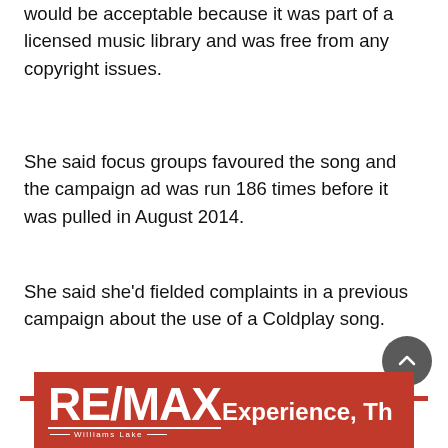would be acceptable because it was part of a licensed music library and was free from any copyright issues.
She said focus groups favoured the song and the campaign ad was run 186 times before it was pulled in August 2014.
She said she'd fielded complaints in a previous campaign about the use of a Coldplay song.
Love Williams Lake Tribune?
Get local stories you won't find anywhere else right to your inbox.
[Figure (logo): RE/MAX Experience, The Williams Lake logo on red banner]